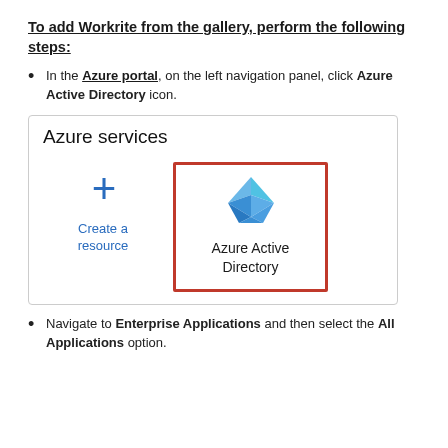To add Workrite from the gallery, perform the following steps:
In the Azure portal, on the left navigation panel, click Azure Active Directory icon.
[Figure (screenshot): Azure portal screenshot showing 'Azure services' panel with a 'Create a resource' icon (blue plus sign) and a highlighted 'Azure Active Directory' icon (blue diamond logo) inside a red rectangle border.]
Navigate to Enterprise Applications and then select the All Applications option.